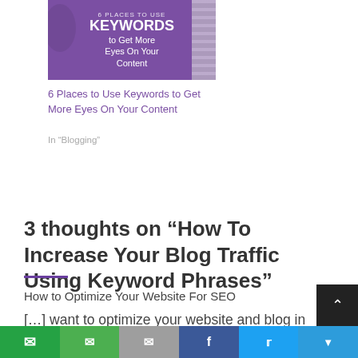[Figure (illustration): Article thumbnail image with purple background showing text: KEYWORDS to Get More Eyes On Your Content]
6 Places to Use Keywords to Get More Eyes On Your Content
In "Blogging"
3 thoughts on “How To Increase Your Blog Traffic Using Keyword Phrases”
How to Optimize Your Website For SEO
[...] want to optimize your website and blog in